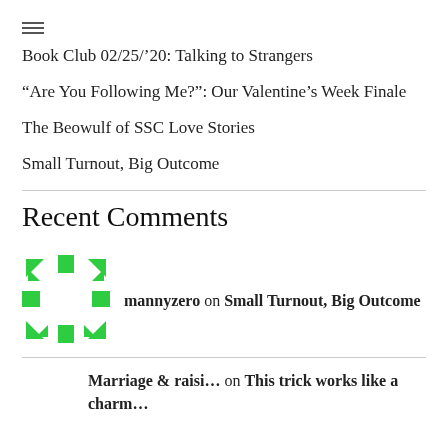≡
Book Club 02/25/'20: Talking to Strangers
“Are You Following Me?”: Our Valentine’s Week Finale
The Beowulf of SSC Love Stories
Small Turnout, Big Outcome
Recent Comments
mannyzero on Small Turnout, Big Outcome
Marriage & raisi… on This trick works like a charm…